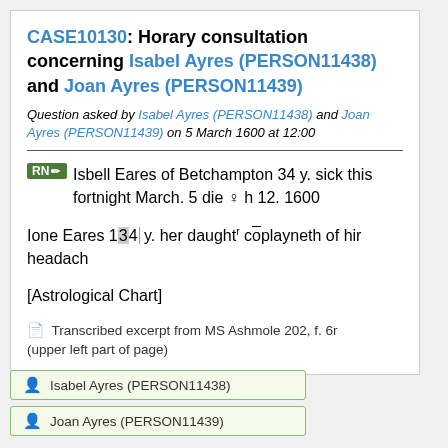CASE10130: Horary consultation concerning Isabel Ayres (PERSON11438) and Joan Ayres (PERSON11439)
Question asked by Isabel Ayres (PERSON11438) and Joan Ayres (PERSON11439) on 5 March 1600 at 12:00
RN [pencil icon] Isbell Eares of Betchampton 34 y. sick this fortnight March. 5 die ♀ h 12. 1600
Ione Eares 13|4 y. her daughtr cōplayneth of hir headach
[Astrological Chart]
Transcribed excerpt from MS Ashmole 202, f. 6r (upper left part of page)
Isabel Ayres (PERSON11438)
Joan Ayres (PERSON11439)